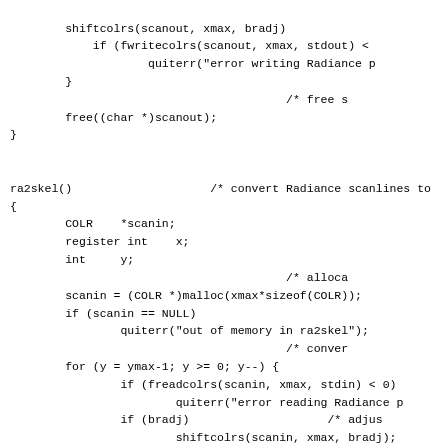shiftcolrs(scanout, xmax, bradj);
            if (fwritecolrs(scanout, xmax, stdout) <
                    quiterr("error writing Radiance p
        }
                                        /* free s
        free((char *)scanout);
}


ra2skel()                    /* convert Radiance scanlines to
{
        COLR    *scanin;
        register int    x;
        int     y;
                                        /* alloca
        scanin = (COLR *)malloc(xmax*sizeof(COLR));
        if (scanin == NULL)
                quiterr("out of memory in ra2skel");
                                        /* conver
        for (y = ymax-1; y >= 0; y--) {
                if (freadcolrs(scanin, xmax, stdin) < 0)
                        quiterr("error reading Radiance p
                if (bradj)                    /* adjus
                        shiftcolrs(scanin, xmax, bradj);
                colrs_gambs(scanin, xmax);      /* gamma
                for (x = 0; x < xmax; x++) {
                        putc(scanin[x][RED], stdout);
                        putc(scanin[x][GRN], stdout);
                        putc(scanin[x][BLU], stdout);
                }